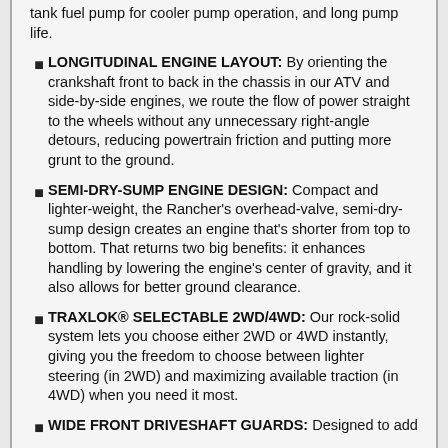tank fuel pump for cooler pump operation, and long pump life.
LONGITUDINAL ENGINE LAYOUT: By orienting the crankshaft front to back in the chassis in our ATV and side-by-side engines, we route the flow of power straight to the wheels without any unnecessary right-angle detours, reducing powertrain friction and putting more grunt to the ground.
SEMI-DRY-SUMP ENGINE DESIGN: Compact and lighter-weight, the Rancher's overhead-valve, semi-dry-sump design creates an engine that's shorter from top to bottom. That returns two big benefits: it enhances handling by lowering the engine's center of gravity, and it also allows for better ground clearance.
TRAXLOK® SELECTABLE 2WD/4WD: Our rock-solid system lets you choose either 2WD or 4WD instantly, giving you the freedom to choose between lighter steering (in 2WD) and maximizing available traction (in 4WD) when you need it most.
WIDE FRONT DRIVESHAFT GUARDS: Designed to add